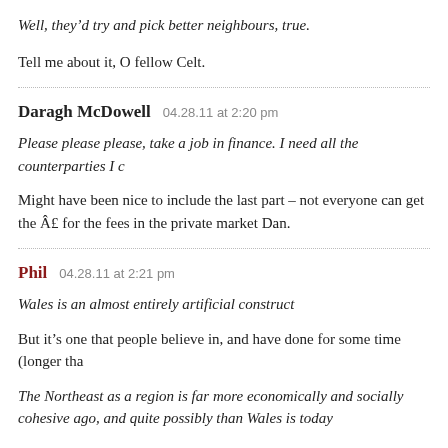Well, they’d try and pick better neighbours, true.
Tell me about it, O fellow Celt.
Daragh McDowell   04.28.11 at 2:20 pm
Please please please, take a job in finance. I need all the counterparties I c
Might have been nice to include the last part – not everyone can get the Â£ for the fees in the private market Dan.
Phil   04.28.11 at 2:21 pm
Wales is an almost entirely artificial construct
But it’s one that people believe in, and have done for some time (longer tha
The Northeast as a region is far more economically and socially cohesive ago, and quite possibly than Wales is today